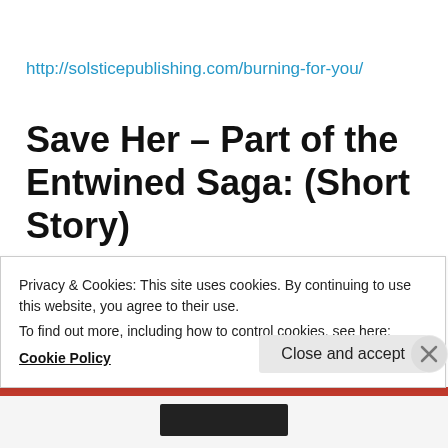http://solsticepublishing.com/burning-for-you/
Save Her – Part of the Entwined Saga: (Short Story)
http://www.amazon.com/Save-Her-Part-Entwined-Saga-
Privacy & Cookies: This site uses cookies. By continuing to use this website, you agree to their use.
To find out more, including how to control cookies, see here:
Cookie Policy
Close and accept